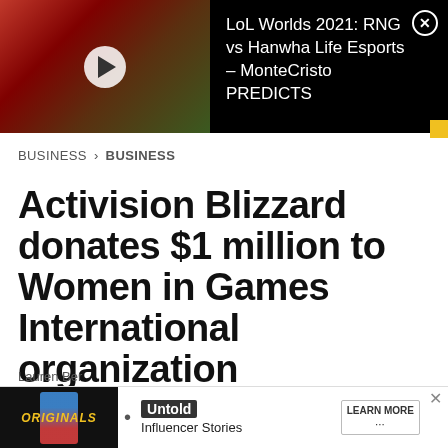[Figure (screenshot): Video thumbnail showing a man with red headphones, with a play button overlay. Dark background with video title text.]
LoL Worlds 2021: RNG vs Hanwha Life Esports – MonteCristo PREDICTS
BUSINESS > BUSINESS
Activision Blizzard donates $1 million to Women in Games International organization
[Figure (photo): Bottom advertisement bar with Originals logo, Untold Influencer Stories ad, and Learn More button. Author credit: Lauren Ber...]
Lauren Ber...